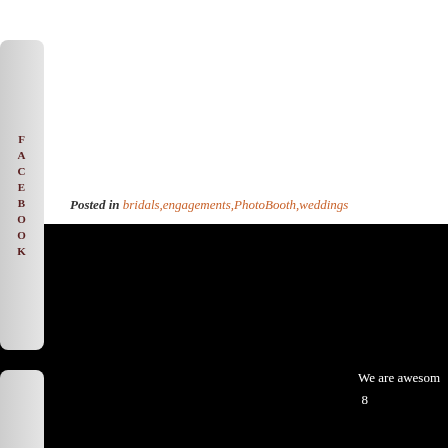Posted in bridals,engagements,PhotoBooth,weddings
FACEBOOK
ARCHIVES
CATEGORIES
We are awesome
8